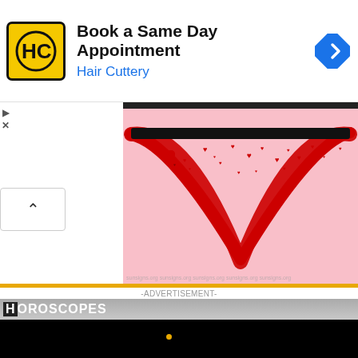[Figure (screenshot): Advertisement banner for Hair Cuttery showing logo (HC in yellow/black box), text 'Book a Same Day Appointment' and 'Hair Cuttery' in blue, and a blue navigation arrow icon on the right.]
[Figure (illustration): Pink background image with a red heart outline made of brushstrokes, with small red hearts scattered around the inside and top edge. Watermark text reads 'sunsigns.org' repeated.]
-ADVERTISEMENT-
HOROSCOPES
[Figure (screenshot): Video thumbnail on black background showing a white circle outline (play indicator) on the left, a small gold dot, and white bold text reading 'How To Open 7 Chakras - Meditation and Healing - SunSigns.Org']
Gemini 2022 Horoscope
Cancer
Leo 2(
[Figure (screenshot): Advertisement banner for McAlister's Deli showing logo (MCA in red box), text 'MCAlister's Online Ordering' and 'McAlister's Deli' in blue, and a blue navigation arrow icon on the right.]